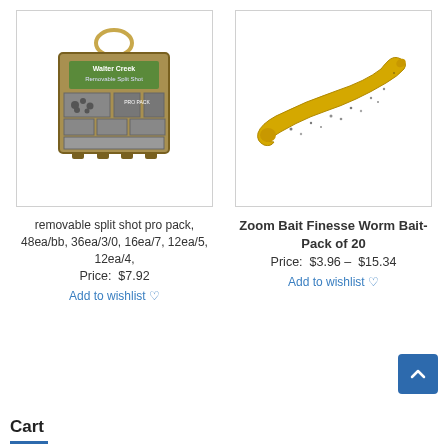[Figure (photo): Box of removable split shot fishing weights - Walter Creek brand Pro Pack]
[Figure (photo): Yellow/gold glitter Zoom Bait Finesse Worm]
removable split shot pro pack, 48ea/bb, 36ea/3/0, 16ea/7, 12ea/5, 12ea/4,
Price:  $7.92
Add to wishlist ♡
Zoom Bait Finesse Worm Bait-Pack of 20
Price:  $3.96 –  $15.34
Add to wishlist ♡
Cart